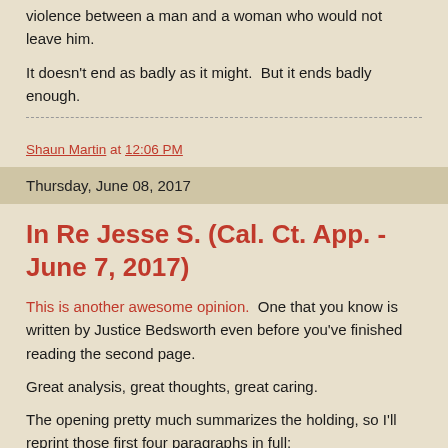violence between a man and a woman who would not leave him.
It doesn't end as badly as it might.  But it ends badly enough.
Shaun Martin at 12:06 PM
Thursday, June 08, 2017
In Re Jesse S. (Cal. Ct. App. - June 7, 2017)
This is another awesome opinion.  One that you know is written by Justice Bedsworth even before you've finished reading the second page.
Great analysis, great thoughts, great caring.
The opening pretty much summarizes the holding, so I'll reprint those first four paragraphs in full: